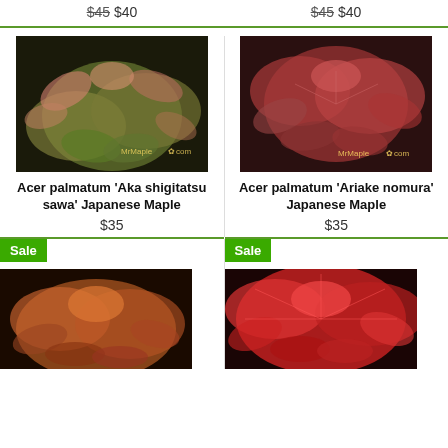$45 $40 (left column top price)
$45 $40 (right column top price)
[Figure (photo): Acer palmatum 'Aka shigitatsu sawa' Japanese Maple leaves, green and pink variegated foliage, MrMaple.com watermark]
[Figure (photo): Acer palmatum 'Ariake nomura' Japanese Maple leaves, red foliage, MrMaple.com watermark]
Acer palmatum 'Aka shigitatsu sawa' Japanese Maple
$35
Acer palmatum 'Ariake nomura' Japanese Maple
$35
Sale
Sale
[Figure (photo): Partial view of a red Japanese Maple plant (bottom left)]
[Figure (photo): Red feathery Japanese Maple foliage with Sale badge (bottom right)]